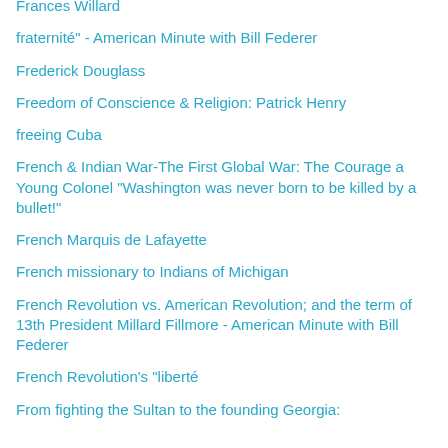Frances Willard
fraternité" - American Minute with Bill Federer
Frederick Douglass
Freedom of Conscience & Religion: Patrick Henry
freeing Cuba
French & Indian War-The First Global War: The Courage a Young Colonel "Washington was never born to be killed by a bullet!"
French Marquis de Lafayette
French missionary to Indians of Michigan
French Revolution vs. American Revolution; and the term of 13th President Millard Fillmore - American Minute with Bill Federer
French Revolution's "liberté
From fighting the Sultan to the founding Georgia: